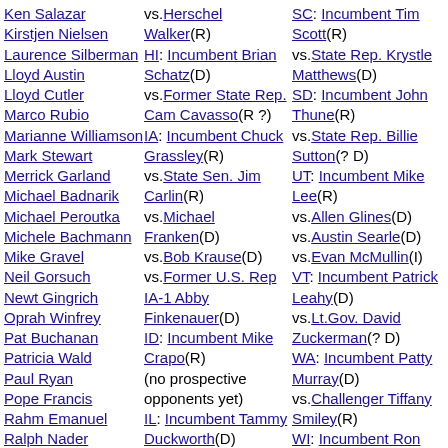Ken Salazar
Kirstjen Nielsen
Laurence Silberman
Lloyd Austin
Lloyd Cutler
Marco Rubio
Marianne Williamson
Mark Stewart
Merrick Garland
Michael Badnarik
Michael Peroutka
Michele Bachmann
Mike Gravel
Neil Gorsuch
Newt Gingrich
Oprah Winfrey
Pat Buchanan
Patricia Wald
Paul Ryan
Pope Francis
Rahm Emanuel
Ralph Nader
vs.Herschel Walker(R)
HI: Incumbent Brian Schatz(D)
vs.Former State Rep. Cam Cavasso(R ?)
IA: Incumbent Chuck Grassley(R)
vs.State Sen. Jim Carlin(R)
vs.Michael Franken(D)
vs.Bob Krause(D)
vs.Former U.S. Rep IA-1 Abby Finkenauer(D)
ID: Incumbent Mike Crapo(R)
(no prospective opponents yet)
IL: Incumbent Tammy Duckworth(D)
vs.U.S.Rep. Adam
SC: Incumbent Tim Scott(R)
vs.State Rep. Krystle Matthews(D)
SD: Incumbent John Thune(R)
vs.State Rep. Billie Sutton(? D)
UT: Incumbent Mike Lee(R)
vs.Allen Glines(D)
vs.Austin Searle(D) vs.Evan McMullin(I)
VT: Incumbent Patrick Leahy(D)
vs.Lt.Gov. David Zuckerman(? D)
WA: Incumbent Patty Murray(D)
vs.Challenger Tiffany Smiley(R)
WI: Incumbent Ron Johnson(R)
vs.Tom Nelson(D)
vs.Sarah Godlewski(D)
vs.Alex Lasry(D)
vs.Chris Larson(D)